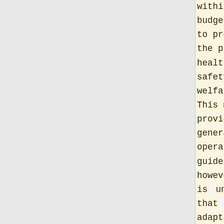within budget, and to protect the public health, safety, and welfare. This manual provides the general operational guidelines; however, it is understood that adaptation, adjustments, and deviations are sometimes